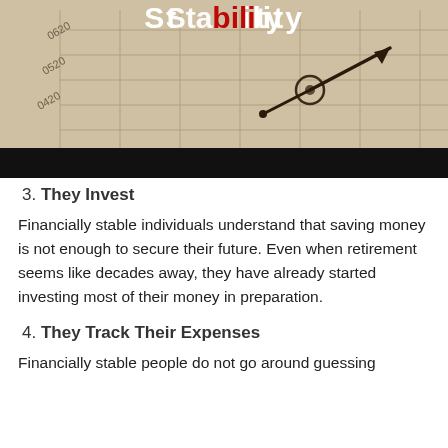[Figure (photo): Photo of a financial chart/grid with a compass or navigation tool pointing with an arrow, overlaid with partially visible bold white text 'Stability' on top, and a solid black bar at the bottom of the image.]
3. They Invest
Financially stable individuals understand that saving money is not enough to secure their future. Even when retirement seems like decades away, they have already started investing most of their money in preparation.
4. They Track Their Expenses
Financially stable people do not go around guessing